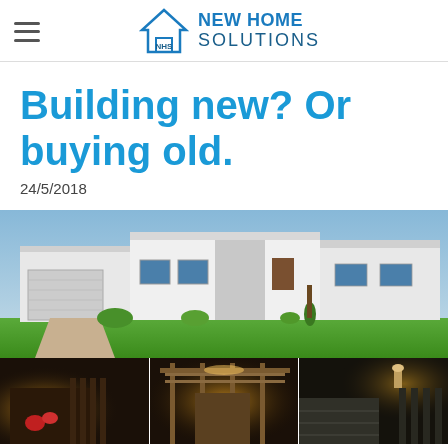NEW HOME SOLUTIONS
Building new? Or buying old.
24/5/2018
[Figure (photo): Front exterior of a modern single-storey white rendered home with large lawn, garage, and landscaped garden, rendered in architectural style.]
[Figure (photo): Three-panel strip of house exterior photos showing warm lit facades with pergola and garage door details at dusk.]